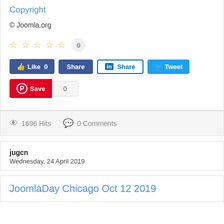Copyright
© Joomla.org
☆ ☆ ☆ ☆ ☆  0
[Figure (screenshot): Social sharing buttons: Facebook Like 0, Facebook Share, LinkedIn Share, Twitter Tweet, Pinterest Save 0]
1696 Hits   0 Comments
jugcn
Wednesday, 24 April 2019
JoomlaDay Chicago Oct 12 2019